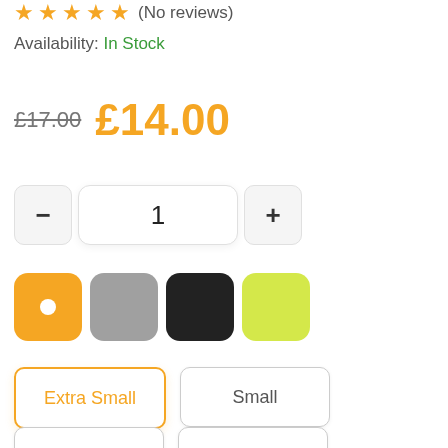★★★★★ (No reviews)
Availability: In Stock
£17.00  £14.00
[Figure (other): Quantity selector with minus button, quantity 1, and plus button]
[Figure (other): Color swatches: orange (selected), gray, black, yellow-green]
Extra Small
Small
Medium
Large
Extra Large